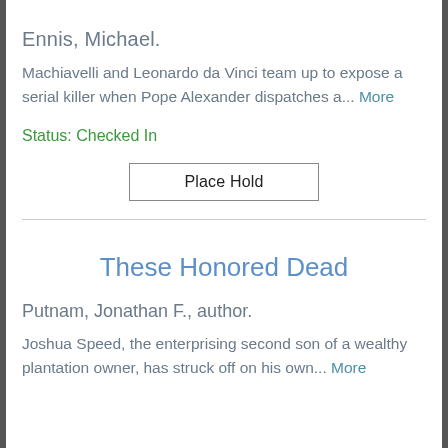Ennis, Michael.
Machiavelli and Leonardo da Vinci team up to expose a serial killer when Pope Alexander dispatches a... More
Status: Checked In
Place Hold
These Honored Dead
Putnam, Jonathan F., author.
Joshua Speed, the enterprising second son of a wealthy plantation owner, has struck off on his own... More